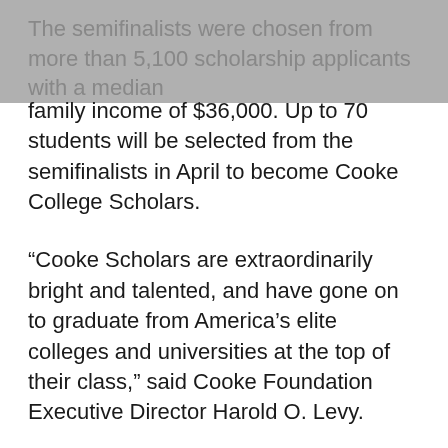The semifinalists were chosen from more than 5,100 scholarship applicants with a median family income of $36,000. Up to 70 students will be selected from the semifinalists in April to become Cooke College Scholars.
“Cooke Scholars are extraordinarily bright and talented, and have gone on to graduate from America’s elite colleges and universities at the top of their class,” said Cooke Foundation Executive Director Harold O. Levy.
The semifinalists come from all 50 states, the District of Columbia, Puerto Rico and the Northern Mariana Islands. A list of the semifinalists by state can be found here.